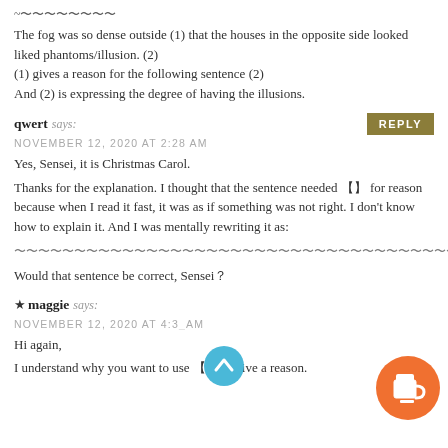~〜〜〜〜〜〜〜〜
The fog was so dense outside (1) that the houses in the opposite side looked liked phantoms/illusion. (2)
(1) gives a reason for the following sentence (2)
And (2) is expressing the degree of having the illusions.
qwert says: NOVEMBER 12, 2020 AT 2:28 AM
Yes, Sensei, it is Christmas Carol.
Thanks for the explanation. I thought that the sentence needed ?? for reason because when I read it fast, it was as if something was not right. I don't know how to explain it. And I was mentally rewriting it as:
〜〜〜〜〜〜〜〜〜〜〜〜〜〜〜〜〜〜〜〜〜〜〜〜〜〜〜〜〜〜〜〜〜〜〜〜〜〜〜〜〜〜〜〜〜〜〜〜〜〜〜
Would that sentence be correct, Sensei？
★ maggie says: NOVEMBER 12, 2020 AT 4:3_ AM
Hi again,
I understand why you want to use ?? to give a reason.